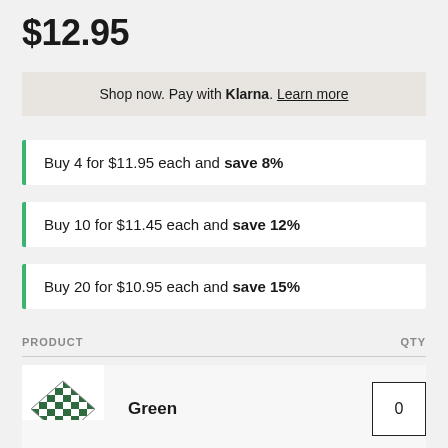$12.95
Shop now. Pay with Klarna. Learn more
Buy 4 for $11.95 each and save 8%
Buy 10 for $11.45 each and save 12%
Buy 20 for $10.95 each and save 15%
| PRODUCT | QTY |
| --- | --- |
| Green (chess board image) | 0 |